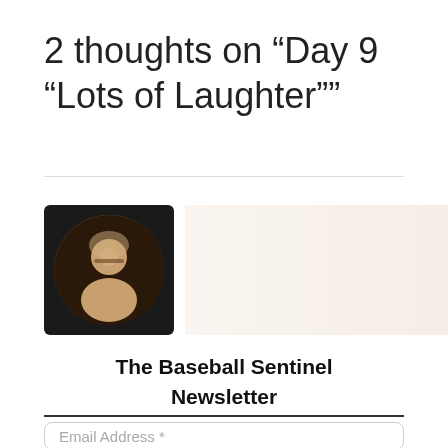2 thoughts on “Day 9 “Lots of Laughter””
[Figure (photo): Circular profile photo of a woman with glasses and light hair on a dark background, displayed in a rounded square frame]
The Baseball Sentinel
Newsletter
Email Address *